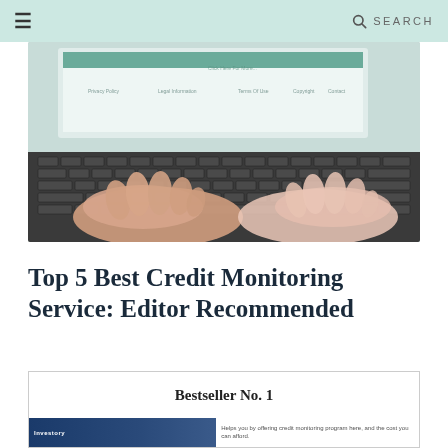☰   SEARCH
[Figure (photo): Hands typing on a laptop keyboard, with a website visible on the laptop screen showing navigation links including Privacy Policy, Legal Information, Terms Of Use, Copyright, Contact]
Top 5 Best Credit Monitoring Service: Editor Recommended
Bestseller No. 1
[Figure (screenshot): Bottom of page showing two product thumbnails side by side — left shows a dark blue Investory branded image, right shows descriptive text about a credit monitoring program]